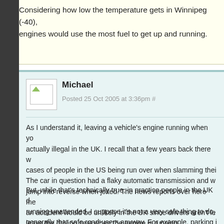Considering how low the temperature gets in Winnipeg (-40), engines would use the most fuel to get up and running.
Michael
Posted 25 Oct 2005 at 3:36pm #
As I understand it, leaving a vehicle's engine running when yo... actually illegal in the UK. I recall that a few years back there w... cases of people in the US being run over when slamming thei... The car in question had a flaky automatic transmission and w... jump into reverse when jolted. The news reports over here me... an accident would be unlikely in the UK since drivers aren't le... leave the driving seat when the engine is running.
But, while that's technically true, in practice people in the UK ... running unattended. I suppose it's not a very safe thing to do, ... generally that safe road-users anyway. For example, parking ... no-stopping zones, on zig-zag-marked pedestrian-crossing ar... double-yellow lines is very common here, although all those p... dangerous for pedestrians and other road users.